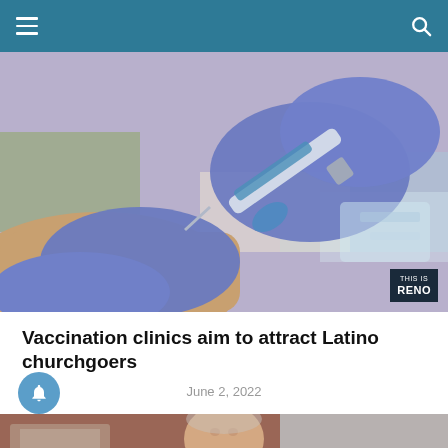Navigation bar with menu and search icons
[Figure (photo): Close-up of blue latex gloved hands administering a vaccine injection with a syringe into a person's arm, with medical supplies in the background. 'THIS IS RENO' watermark badge in bottom right corner.]
Vaccination clinics aim to attract Latino churchgoers
June 2, 2022
[Figure (photo): A man in a suit standing at a podium or in a formal setting, looking upward, with a building in the background.]